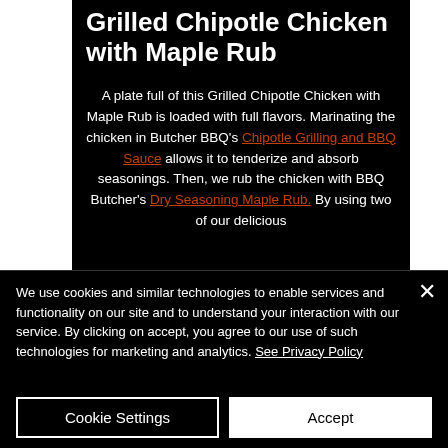Grilled Chipotle Chicken with Maple Rub
A plate full of this Grilled Chipotle Chicken with Maple Rub is loaded with full flavors. Marinating the chicken in Butcher BBQ's Chipotle Grilling and BBQ Sauce allows it to tenderize and absorb seasonings. Then, we rub the chicken with BBQ Butcher's Dry Seasoning Maple Rub. By using two of our delicious
We use cookies and similar technologies to enable services and functionality on our site and to understand your interaction with our service. By clicking on accept, you agree to our use of such technologies for marketing and analytics. See Privacy Policy
Cookie Settings
Accept